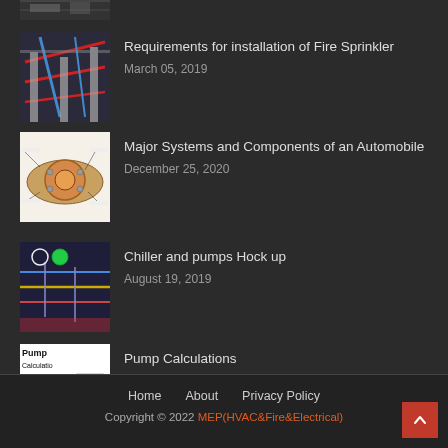[Figure (screenshot): Partial top thumbnail of an engineering/MEP drawing (cropped at top)]
Requirements for installation of Fire Sprinkler
March 05, 2019
Major Systems and Components of an Automobile
December 25, 2020
Chiller and pumps Hock up
August 19, 2019
Pump Calculations
April 01, 2020
Home   About   Privacy Policy
Copyright © 2022 MEP(HVAC&Fire&Electrical)